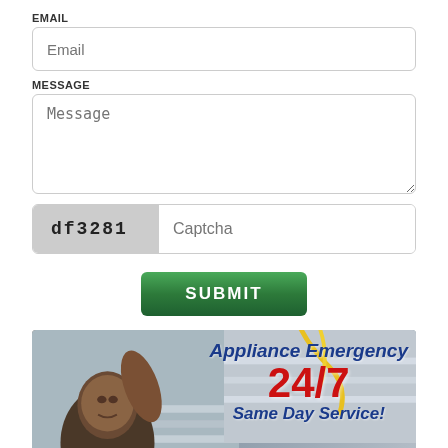EMAIL
Email
MESSAGE
Message
df3281  Captcha
SUBMIT
[Figure (photo): Appliance repair advertisement showing a technician working, with text: Appliance Emergency 24/7 Same Day Service! 847-737-7970]